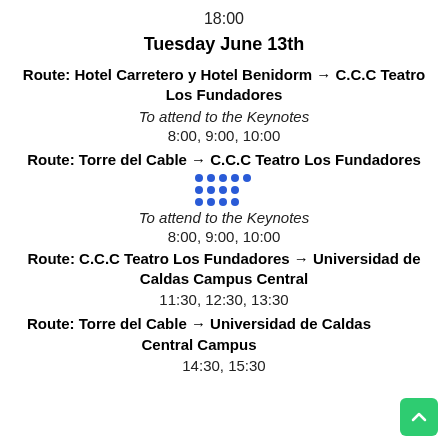18:00
Tuesday June 13th
Route: Hotel Carretero y Hotel Benidorm → C.C.C Teatro Los Fundadores
To attend to the Keynotes
8:00, 9:00, 10:00
Route: Torre del Cable → C.C.C Teatro Los Fundadores
To attend to the Keynotes
8:00, 9:00, 10:00
Route: C.C.C Teatro Los Fundadores → Universidad de Caldas Campus Central
11:30, 12:30, 13:30
Route: Torre del Cable → Universidad de Caldas Central Campus
14:30, 15:30